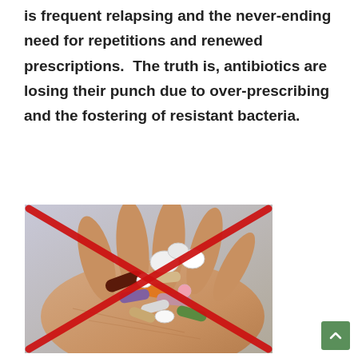is frequent relapsing and the never-ending need for repetitions and renewed prescriptions.  The truth is, antibiotics are losing their punch due to over-prescribing and the fostering of resistant bacteria.
[Figure (photo): A hand holding a large assortment of colorful pills and capsules, with a large red X crossed over the image indicating disapproval or prohibition of antibiotic overuse.]